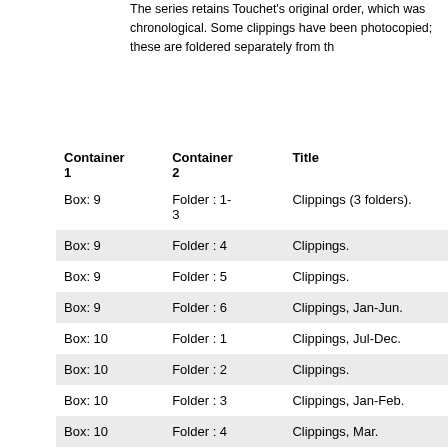The series retains Touchet's original order, which was chronological. Some clippings have been photocopied; these are foldered separately from the originals.
| Container 1 | Container 2 | Title |
| --- | --- | --- |
| Box: 9 | Folder : 1-3 | Clippings (3 folders). |
| Box: 9 | Folder : 4 | Clippings. |
| Box: 9 | Folder : 5 | Clippings. |
| Box: 9 | Folder : 6 | Clippings, Jan-Jun. |
| Box: 10 | Folder : 1 | Clippings, Jul-Dec. |
| Box: 10 | Folder : 2 | Clippings. |
| Box: 10 | Folder : 3 | Clippings, Jan-Feb. |
| Box: 10 | Folder : 4 | Clippings, Mar. |
| Box: 10 | Folder : 5 | Clippings, Apr. |
| Box: 11 | Folder : 1 | Clippings, Apr-Nov. |
| Box: 11 | Folder : 2 | Clippings, Jan-Jun. |
| Box: 11 | Folder : 3 | Clippings, Jul-Dec. |
| Box: 11 | Folder : 4 | Clippings, Jan-May (2 folders). |